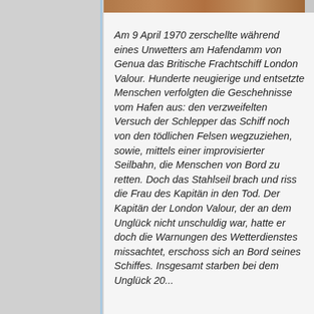[Figure (photo): Top strip showing partial image of a person's face or skin, brownish-orange tones]
Am 9 April 1970 zerschellte während eines Unwetters am Hafendamm von Genua das Britische Frachtschiff London Valour. Hunderte neugierige und entsetzte Menschen verfolgten die Geschehnisse vom Hafen aus: den verzweifelten Versuch der Schlepper das Schiff noch von den tödlichen Felsen wegzuziehen, sowie, mittels einer improvisierter Seilbahn, die Menschen von Bord zu retten. Doch das Stahlseil brach und riss die Frau des Kapitän in den Tod. Der Kapitän der London Valour, der an dem Unglück nicht unschuldig war, hatte er doch die Warnungen des Wetterdienstes missachtet, erschoss sich an Bord seines Schiffes. Insgesamt starben bei dem Unglück 20...